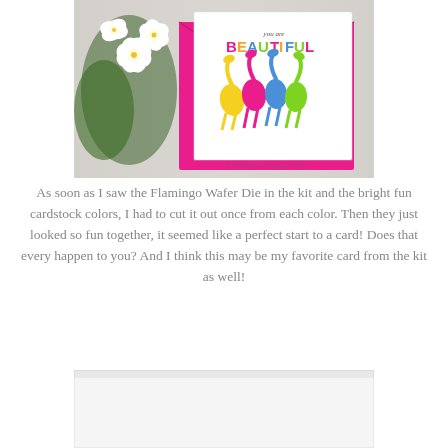[Figure (photo): Photo of a handmade greeting card with colorful flamingo die cuts in yellow, pink, blue, and green arranged on a white card with 'you are BEAUTIFUL' text, placed on a hot pink envelope, with white orchid flowers on the left side, on a white wooden surface. Watermark reads '© 2019 House Built of Cards'.]
As soon as I saw the Flamingo Wafer Die in the kit and the bright fun cardstock colors, I had to cut it out once from each color. Then they just looked so fun together, it seemed like a perfect start to a card! Does that every happen to you? And I think this may be my favorite card from the kit as well!
[Figure (photo): Partially visible second photo of a crafting project, mostly white/blank area with slight shadow at top.]